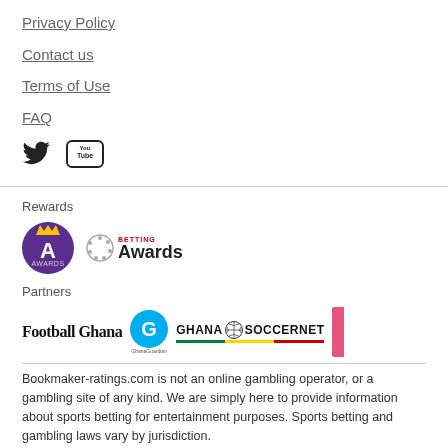Privacy Policy
Contact us
Terms of Use
FAQ
[Figure (logo): Twitter bird icon and YouTube logo icons for social media links]
Rewards
[Figure (logo): Awards logo with purple circle containing letter A with crown, and Betting Awards text logo with dotted circle]
Partners
[Figure (logo): Partner logos: Football Ghana in serif font, Ghana Guardian blue G circle, Ghana Soccernet with soccer ball and flag underline, and partially visible pink logo]
Bookmaker-ratings.com is not an online gambling operator, or a gambling site of any kind. We are simply here to provide information about sports betting for entertainment purposes. Sports betting and gambling laws vary by jurisdiction.